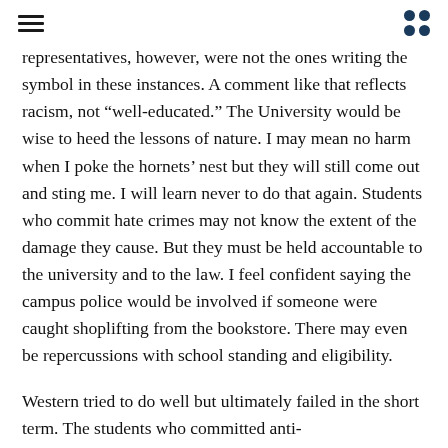[hamburger menu icon] [grid dots icon]
representatives, however, were not the ones writing the symbol in these instances. A comment like that reflects racism, not “well-educated.” The University would be wise to heed the lessons of nature. I may mean no harm when I poke the hornets’ nest but they will still come out and sting me. I will learn never to do that again. Students who commit hate crimes may not know the extent of the damage they cause. But they must be held accountable to the university and to the law. I feel confident saying the campus police would be involved if someone were caught shoplifting from the bookstore. There may even be repercussions with school standing and eligibility.
Western tried to do well but ultimately failed in the short term. The students who committed anti-Semitic/racist/hate acts should be immediately suspended from the university as they are given an